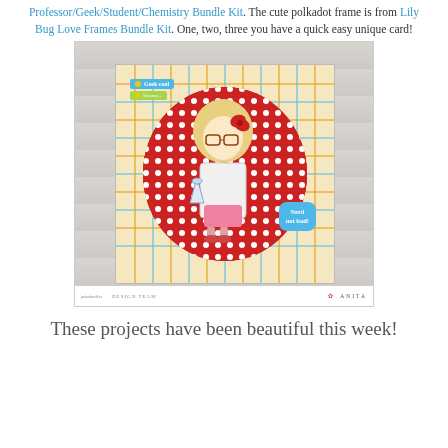Professor/Geek/Student/Chemistry Bundle Kit. The cute polkadot frame is from Lily Bug Love Frames Bundle Kit. One, two, three you have a quick easy unique card!
[Figure (photo): A handmade greeting card featuring a cartoon girl character dressed as a scientist/nerd, holding a chemistry beaker, set against a plaid background with a red polkadot oval frame. Text labels 'Geek cool' and 'Nerd' appear on the card. Card is placed on a white wood plank surface. Footer reads 'pokadoodles DESIGN TEAM' and 'ANITA'.]
These projects have been beautiful this week!